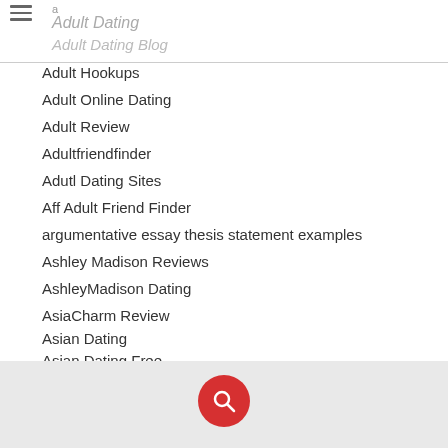a
Adult Dating
Adult Dating Blog
Adult Hookups
Adult Online Dating
Adult Review
Adultfriendfinder
Adutl Dating Sites
Aff Adult Friend Finder
argumentative essay thesis statement examples
Ashley Madison Reviews
AshleyMadison Dating
AsiaCharm Review
Asian Dating
Asian Dating Free
Asian Mail Order Brides
Asian Women
asian women for marriage
australia bride